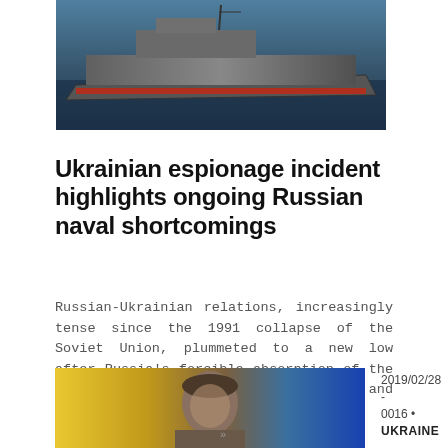[Figure (photo): Top portion of a naval vessel (ship) photographed from above, showing the deck and hull against dark water.]
Ukrainian espionage incident highlights ongoing Russian naval shortcomings
Russian-Ukrainian relations, increasingly tense since the 1991 collapse of the Soviet Union, plummeted to a new low after Russia’s forcible absorption of the Crimean Peninsula in March 2014 and subsequent invasion of Donbas. On…
READ ARTICLE
[Figure (photo): Photo of a person in front of a yellow and blue Ukrainian flag background.]
2019/02/28 - 0016 • UKRAINE